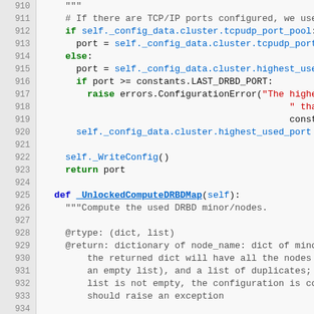[Figure (screenshot): Source code screenshot showing Python code lines 910-934, featuring TCP/IP port configuration logic and a method definition _UnlockedComputeDRBDMap with docstring.]